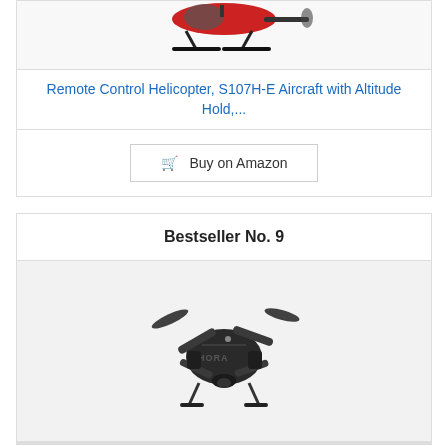[Figure (photo): Partial view of a red and black remote control helicopter (S107H-E) showing the tail and skids, cropped from top]
Remote Control Helicopter, S107H-E Aircraft with Altitude Hold,...
🛒 Buy on Amazon
Bestseller No. 9
[Figure (photo): Black folded drone (quadcopter) with 'HORA' text visible on body, shown from above/front angle]